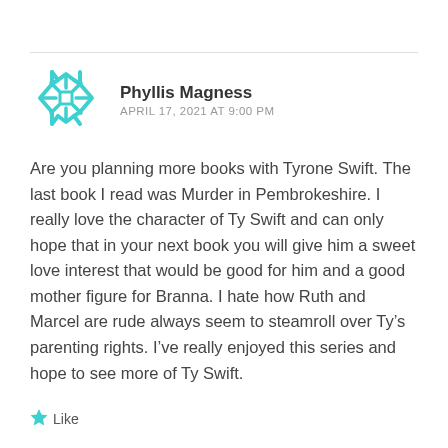Phyllis Magness
APRIL 17, 2021 AT 9:00 PM
Are you planning more books with Tyrone Swift. The last book I read was Murder in Pembrokeshire. I really love the character of Ty Swift and can only hope that in your next book you will give him a sweet love interest that would be good for him and a good mother figure for Branna. I hate how Ruth and Marcel are rude always seem to steamroll over Ty’s parenting rights. I’ve really enjoyed this series and hope to see more of Ty Swift.
★ Like